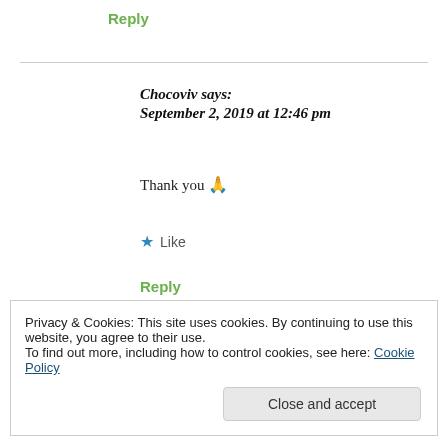Reply
Chocoviv says:
September 2, 2019 at 12:46 pm
Thank you 🙏
★ Like
Reply
Privacy & Cookies: This site uses cookies. By continuing to use this website, you agree to their use.
To find out more, including how to control cookies, see here: Cookie Policy
Close and accept